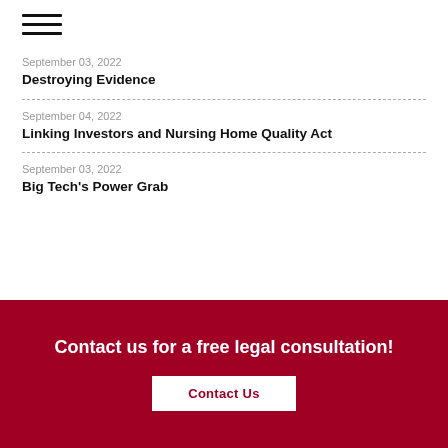[Figure (other): Hamburger menu icon (three horizontal lines)]
September 03, 2022
Destroying Evidence
September 04, 2022
Linking Investors and Nursing Home Quality Act
September 03, 2022
Big Tech's Power Grab
Contact us for a free legal consultation!
Contact Us